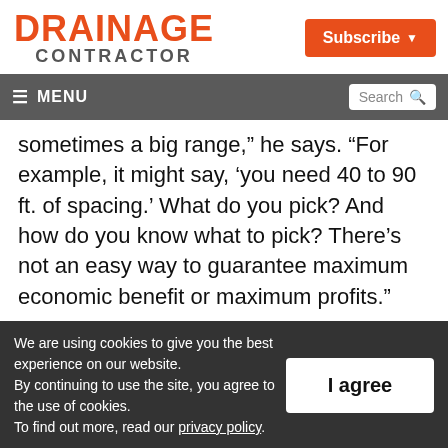DRAINAGE CONTRACTOR
Subscribe
≡ MENU  Search
sometimes a big range,” he says. “For example, it might say, ‘you need 40 to 90 ft. of spacing.’ What do you pick? And how do you know what to pick? There’s not an easy way to guarantee maximum economic benefit or maximum profits.”
We are using cookies to give you the best experience on our website.
By continuing to use the site, you agree to the use of cookies.
To find out more, read our privacy policy.